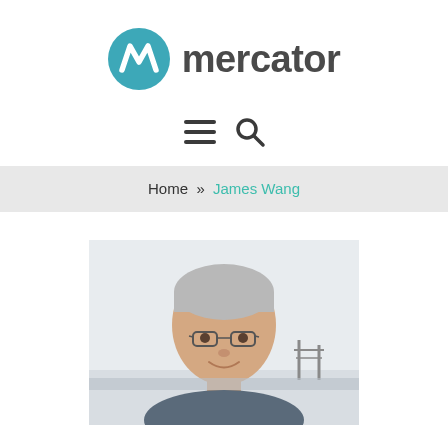[Figure (logo): Mercator logo with teal circular icon containing a stylized M/wave shape and the word 'mercator' in dark gray sans-serif text]
[Figure (other): Navigation icons: hamburger menu (three horizontal lines) and search (magnifying glass) in dark gray]
Home » James Wang
[Figure (photo): Portrait photo of James Wang, an Asian man with gray hair and glasses, smiling, photographed outdoors with a light sky and industrial structure in the background]